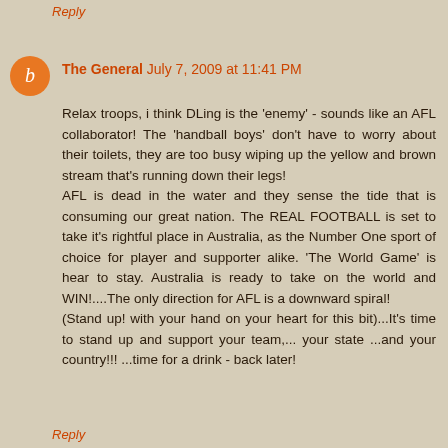Reply
The General July 7, 2009 at 11:41 PM
Relax troops, i think DLing is the 'enemy' - sounds like an AFL collaborator! The 'handball boys' don't have to worry about their toilets, they are too busy wiping up the yellow and brown stream that's running down their legs!
AFL is dead in the water and they sense the tide that is consuming our great nation. The REAL FOOTBALL is set to take it's rightful place in Australia, as the Number One sport of choice for player and supporter alike. 'The World Game' is hear to stay. Australia is ready to take on the world and WIN!....The only direction for AFL is a downward spiral!
(Stand up! with your hand on your heart for this bit)...It's time to stand up and support your team,... your state ...and your country!!! ...time for a drink - back later!
Reply